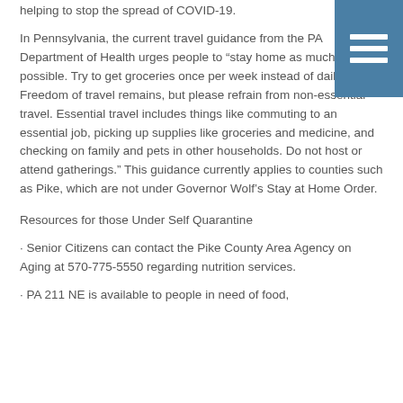helping to stop the spread of COVID-19.
In Pennsylvania, the current travel guidance from the PA Department of Health urges people to “stay home as much as possible. Try to get groceries once per week instead of daily. Freedom of travel remains, but please refrain from non-essential travel. Essential travel includes things like commuting to an essential job, picking up supplies like groceries and medicine, and checking on family and pets in other households. Do not host or attend gatherings.” This guidance currently applies to counties such as Pike, which are not under Governor Wolf’s Stay at Home Order.
Resources for those Under Self Quarantine
· Senior Citizens can contact the Pike County Area Agency on Aging at 570-775-5550 regarding nutrition services.
· PA 211 NE is available to people in need of food,